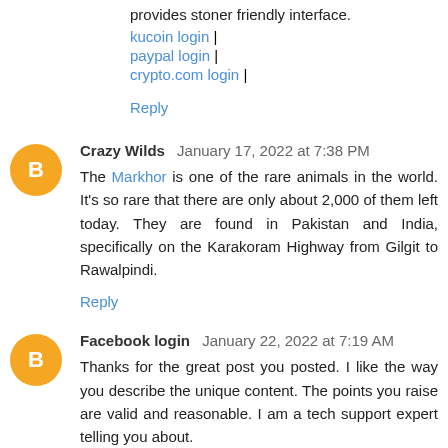provides stoner friendly interface.
kucoin login |
paypal login |
crypto.com login |
Reply
Crazy Wilds  January 17, 2022 at 7:38 PM
The Markhor is one of the rare animals in the world. It's so rare that there are only about 2,000 of them left today. They are found in Pakistan and India, specifically on the Karakoram Highway from Gilgit to Rawalpindi.
Reply
Facebook login  January 22, 2022 at 7:19 AM
Thanks for the great post you posted. I like the way you describe the unique content. The points you raise are valid and reasonable. I am a tech support expert telling you about.
metamask Login